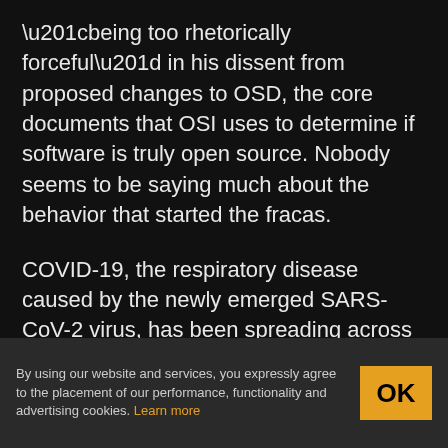“being too rhetorically forceful” in his dissent from proposed changes to OSD, the core documents that OSI uses to determine if software is truly open source. Nobody seems to be saying much about the behavior that started the fracas.
COVID-19, the respiratory disease caused by the newly emerged SARS-CoV-2 virus, has been spreading across the globe, causing panic and claiming lives. It’s not without its second-order effects either, of course, as everything from global supply chains to
By using our website and services, you expressly agree to the placement of our performance, functionality and advertising cookies. Learn more